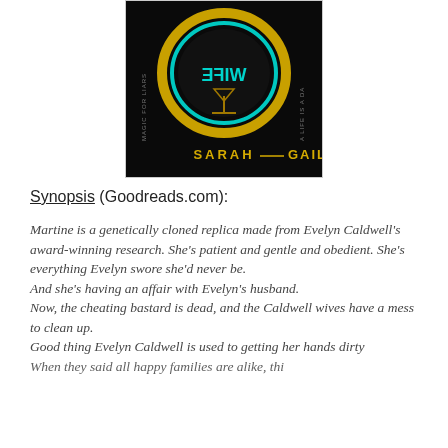[Figure (illustration): Book cover of 'The Book of the Unnamed Midwife' or similar — a dark cover with a mirror-like circle showing reflected text 'WIFE', a martini glass silhouette inside, golden ring border with teal inner glow; text reading 'SARAH GAILEY' at bottom on black background]
Synopsis (Goodreads.com):
Martine is a genetically cloned replica made from Evelyn Caldwell's award-winning research. She's patient and gentle and obedient. She's everything Evelyn swore she'd never be.
And she's having an affair with Evelyn's husband.
Now, the cheating bastard is dead, and the Caldwell wives have a mess to clean up.
Good thing Evelyn Caldwell is used to getting her hands dirty
When they said all happy families are alike, this...